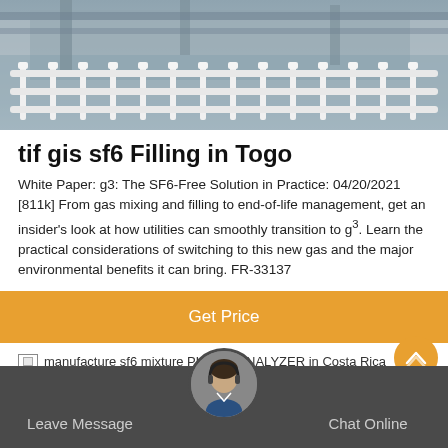[Figure (photo): Outdoor industrial facility with white metal fence/railing and building structure in background, grey sky]
tif gis sf6 Filling in Togo
White Paper: g3: The SF6-Free Solution in Practice: 04/20/2021 [811k] From gas mixing and filling to end-of-life management, get an insider's look at how utilities can smoothly transition to g³. Learn the practical considerations of switching to this new gas and the major environmental benefits it can bring. FR-33137
Get Price
manufacture sf6 mixture PURITY ANALYZER in Costa Rica
Leave Message   Chat Online